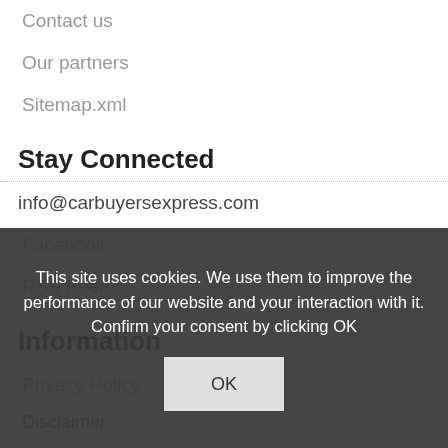Contact us
Our partners
Sitemap.xml
Stay Connected
info@carbuyersexpress.com
Facebook
RSS Feed
Information
Privacy Policy
Disclaimer
Copyright
For Users
Sell the car or motorcy...
This site uses cookies. We use them to improve the performance of our website and your interaction with it. Confirm your consent by clicking OK